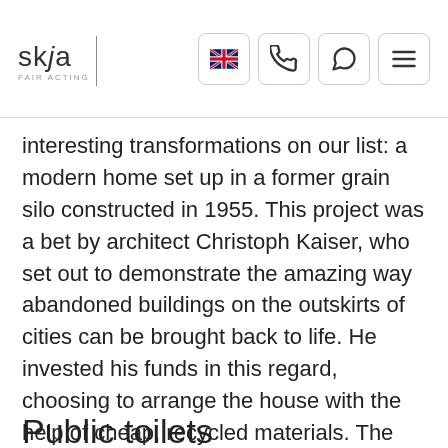skja
interesting transformations on our list: a modern home set up in a former grain silo constructed in 1955. This project was a bet by architect Christoph Kaiser, who set out to demonstrate the amazing way abandoned buildings on the outskirts of cities can be brought back to life. He invested his funds in this regard, choosing to arrange the house with the help of cheap, recycled materials. The circular home has a bedroom, an attic with a view, and a multitude of generous storage spaces.
Public toilets